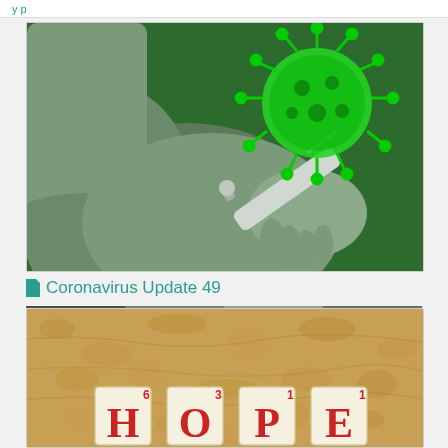Coronavirus Update 49
[Figure (photo): Vaccine injection into arm with green coronavirus illustration in background]
Coronavirus Update 49
[Figure (photo): Scrabble tiles spelling HOPE on a cork board background]